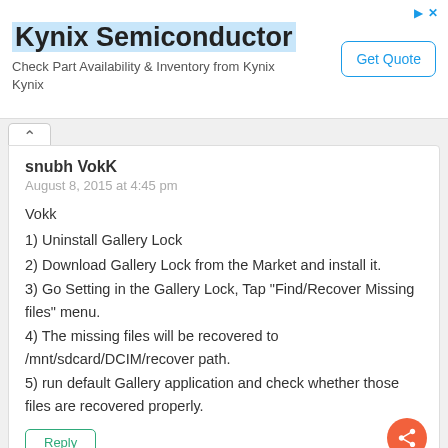[Figure (screenshot): Kynix Semiconductor advertisement banner with 'Get Quote' button]
snubh VokK
August 8, 2015 at 4:45 pm
Vokk
1) Uninstall Gallery Lock
2) Download Gallery Lock from the Market and install it.
3) Go Setting in the Gallery Lock, Tap "Find/Recover Missing files" menu.
4) The missing files will be recovered to /mnt/sdcard/DCIM/recover path.
5) run default Gallery application and check whether those files are recovered properly.